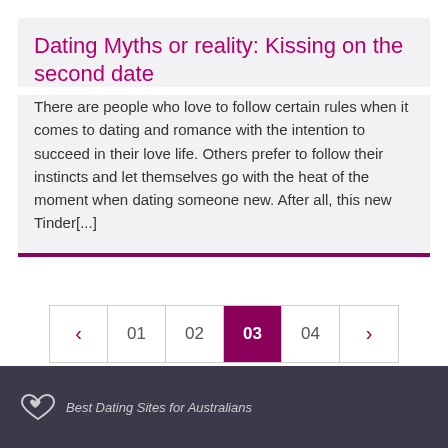Dating Myths or reality: Kissing on the second date
There are people who love to follow certain rules when it comes to dating and romance with the intention to succeed in their love life. Others prefer to follow their instincts and let themselves go with the heat of the moment when dating someone new. After all, this new Tinder[...]
[Figure (other): Pagination control showing navigation arrows and page numbers 01, 02, 03 (active/selected), 04]
Best Dating Sites for Australians